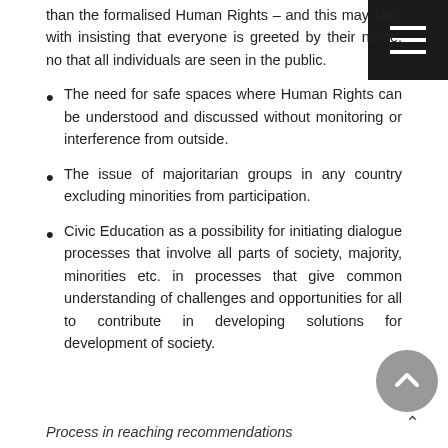than the formalised Human Rights – and this may start with insisting that everyone is greeted by their name, no that all individuals are seen in the public.
The need for safe spaces where Human Rights can be understood and discussed without monitoring or interference from outside.
The issue of majoritarian groups in any country excluding minorities from participation.
Civic Education as a possibility for initiating dialogue processes that involve all parts of society, majority, minorities etc. in processes that give common understanding of challenges and opportunities for all to contribute in developing solutions for development of society.
Process in reaching recommendations